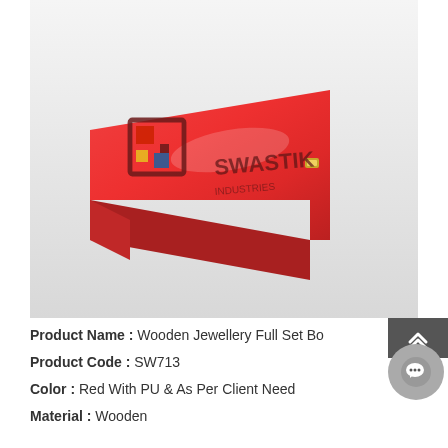[Figure (photo): A red wooden jewellery box with glossy PU finish, shown closed with a gold clasp on the right side. A Swastik Industries watermark/logo is overlaid on the image.]
Product Name : Wooden Jewellery Full Set Bo
Product Code : SW713
Color : Red With PU & As Per Client Need
Material : Wooden